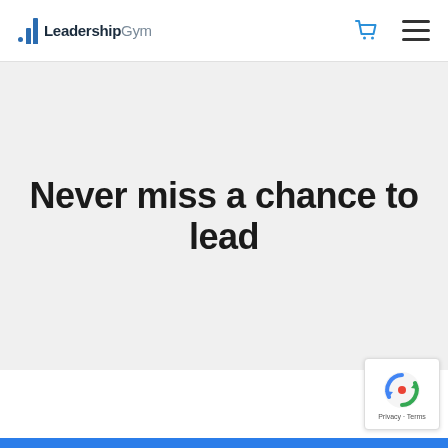LeadershipGym
Never miss a chance to lead
[Figure (logo): reCAPTCHA badge with refresh icon and Privacy - Terms text]